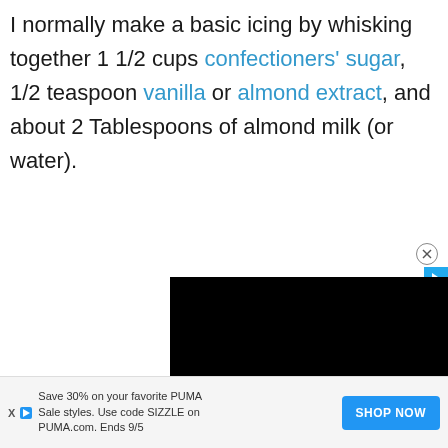I normally make a basic icing by whisking together 1 1/2 cups confectioners' sugar, 1/2 teaspoon vanilla or almond extract, and about 2 Tablespoons of almond milk (or water).
[Figure (screenshot): Black video player rectangle, partially visible, with close (x) button and play button overlay in top-right area]
Save 30% on your favorite PUMA Sale styles. Use code SIZZLE on PUMA.com. Ends 9/5  [SHOP NOW]